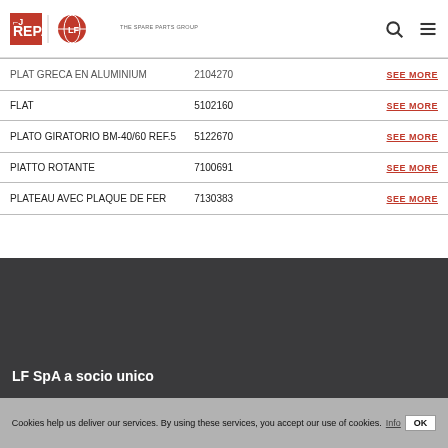REPA - THE SPARE PARTS GROUP | LF SpA
| Name | Code | Link |
| --- | --- | --- |
| PLAT GRECA EN ALUMINIUM | 2104270 | SEE MORE |
| FLAT | 5102160 | SEE MORE |
| PLATO GIRATORIO BM-40/60 REF.5 | 5122670 | SEE MORE |
| PIATTO ROTANTE | 7100691 | SEE MORE |
| PLATEAU AVEC PLAQUE DE FER | 7130383 | SEE MORE |
LF SpA a socio unico
Cookies help us deliver our services. By using these services, you accept our use of cookies. Info OK